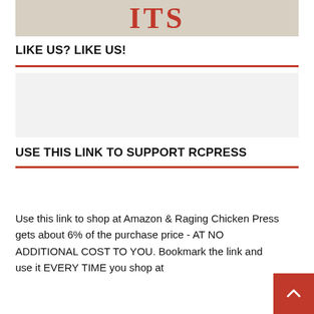[Figure (illustration): Partial book cover image showing red text letters 'ITS' on a beige/tan illustrated background]
LIKE US? LIKE US!
[Figure (other): Gray placeholder box for Facebook Like widget]
USE THIS LINK TO SUPPORT RCPRESS
Use this link to shop at Amazon & Raging Chicken Press gets about 6% of the purchase price - AT NO ADDITIONAL COST TO YOU. Bookmark the link and use it EVERY TIME you shop at